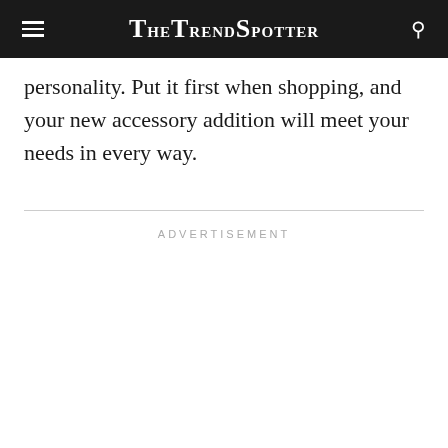TheTrendSpotter
personality. Put it first when shopping, and your new accessory addition will meet your needs in every way.
ADVERTISEMENT